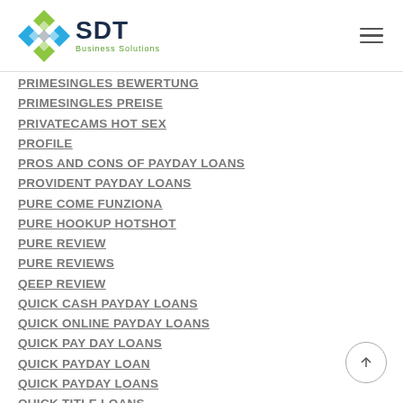SDT Business Solutions
PRIMESINGLES BEWERTUNG
PRIMESINGLES PREISE
PRIVATECAMS HOT SEX
PROFILE
PROS AND CONS OF PAYDAY LOANS
PROVIDENT PAYDAY LOANS
PURE COME FUNZIONA
PURE HOOKUP HOTSHOT
PURE REVIEW
PURE REVIEWS
QEEP REVIEW
QUICK CASH PAYDAY LOANS
QUICK ONLINE PAYDAY LOANS
QUICK PAY DAY LOANS
QUICK PAYDAY LOAN
QUICK PAYDAY LOANS
QUICK TITLE LOANS
QUICKFLIRT HOOKUP SITES